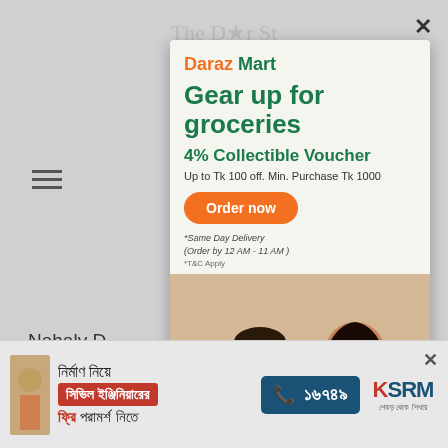[Figure (screenshot): Screenshot of a news website showing a Daraz Mart advertisement overlay popup with text 'Gear up for groceries', '4% Collectible Voucher', 'Up to Tk 100 off. Min. Purchase Tk 1000', 'Order now' button, same day delivery note, and a bottom banner ad for KSRM civil engineering consultation in Bengali.]
Nahaly D... Metro desk, Th...
[Figure (infographic): Bottom banner advertisement in Bengali: 'নির্মাণ নিয়ে সিভিল ইঞ্জিনিয়ারের ফ্রি পরামর্শ নিতে' with phone number ১৬৭৪৯ and KSRM logo]